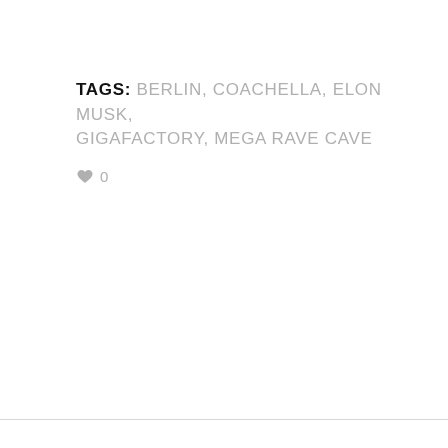TAGS: BERLIN, COACHELLA, ELON MUSK, GIGAFACTORY, MEGA RAVE CAVE
♥ 0